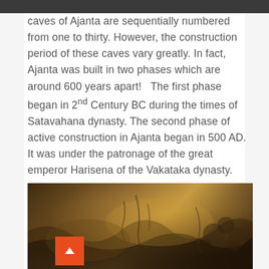caves of Ajanta are sequentially numbered from one to thirty. However, the construction period of these caves vary greatly. In fact, Ajanta was built in two phases which are around 600 years apart!   The first phase began in 2nd Century BC during the times of Satavahana dynasty. The second phase of active construction in Ajanta began in 500 AD. It was under the patronage of the great emperor Harisena of the Vakataka dynasty.
[Figure (photo): A photograph showing ancient cave paintings or rock carvings from Ajanta caves, with warm golden-brown tones showing detailed artwork on stone surfaces.]